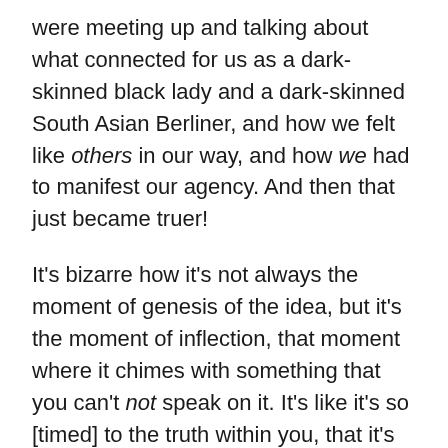were meeting up and talking about what connected for us as a dark-skinned black lady and a dark-skinned South Asian Berliner, and how we felt like others in our way, and how we had to manifest our agency. And then that just became truer!
It's bizarre how it's not always the moment of genesis of the idea, but it's the moment of inflection, that moment where it chimes with something that you can't not speak on it. It's like it's so [timed] to the truth within you, that it's across everything that you're doing. That's how everything, regardless of when it was written or when it was started, came to be on this record. Because of the time. So that's exactly how the time affected the record. It highlighted the songs from my past that needed to be spoken on now.